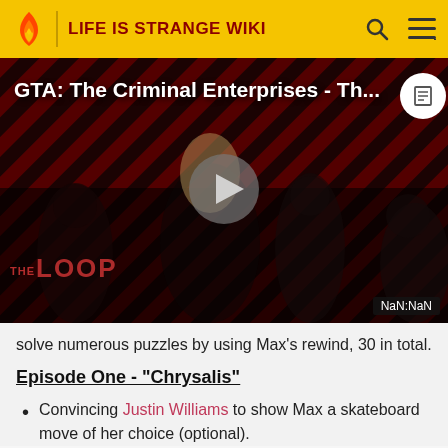LIFE IS STRANGE WIKI
[Figure (screenshot): Video thumbnail showing 'GTA: The Criminal Enterprises - Th...' with characters from Life is Strange on a red striped background, a play button in the center, 'THE LOOP' logo at the bottom left, and 'NaN:NaN' timestamp at the bottom right.]
solve numerous puzzles by using Max's rewind, 30 in total.
Episode One - "Chrysalis"
Convincing Justin Williams to show Max a skateboard move of her choice (optional).